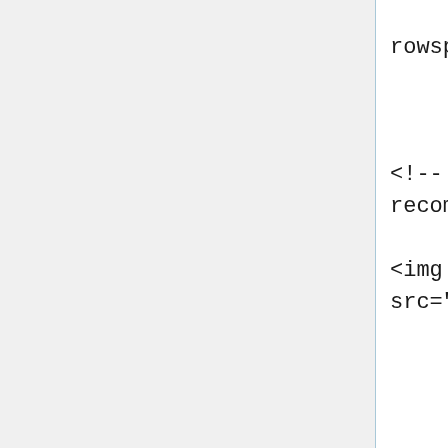<td rowspan="20" >


<!-- 400px max width recommended -->

<img class="pic2" src="http://img200.imageshack.u

                </td>
            </tr>
            <tr>
                <td colspan="3" style="padding-top: 0px;">

<div class="heading">SERIES INFORMATION</div>
                </td>
            </tr>


<!-- edit the info